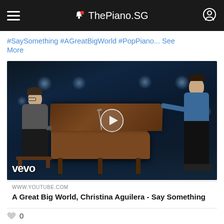ThePiano.SG
#SaySomething #AGreatBigWorld #PopPiano... See More
[Figure (screenshot): YouTube video thumbnail showing two men at a grand piano in a dark stage setting. One man with glasses sits at the piano playing, another man in a denim shirt stands on the other side leaning on the piano. A play button overlay is visible in the center. Vevo logo in bottom-left corner.]
WWW.YOUTUBE.COM
A Great Big World, Christina Aguilera - Say Something
0